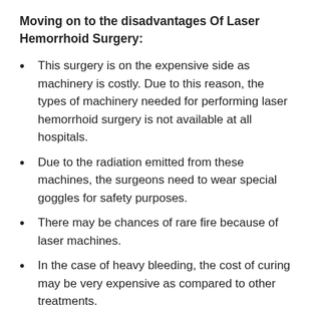Moving on to the disadvantages Of Laser Hemorrhoid Surgery:
This surgery is on the expensive side as machinery is costly. Due to this reason, the types of machinery needed for performing laser hemorrhoid surgery is not available at all hospitals.
Due to the radiation emitted from these machines, the surgeons need to wear special goggles for safety purposes.
There may be chances of rare fire because of laser machines.
In the case of heavy bleeding, the cost of curing may be very expensive as compared to other treatments.
Well, Laser hemorrhoid surgery is also termed as hemorrhoidectomy. In spite of the major benefits, of laser hemorrhoid surgery, many patients still prefer to solve their hemorrhoid problems using natural treatment